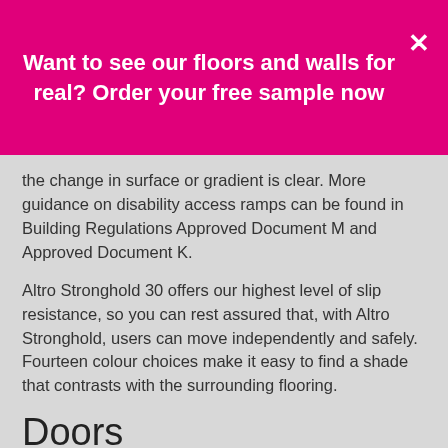Want to see our floors and walls for real? Order your free sample now
the change in surface or gradient is clear. More guidance on disability access ramps can be found in Building Regulations Approved Document M and Approved Document K.
Altro Stronghold 30 offers our highest level of slip resistance, so you can rest assured that, with Altro Stronghold, users can move independently and safely. Fourteen colour choices make it easy to find a shade that contrasts with the surrounding flooring.
Doors
The department for children, schools and families' publication Building Bulletin 100 (BB 100) is a design guide for improving fire safety in schools, covering new and existing buildings. It specifies the minimum fire resistance of doors in